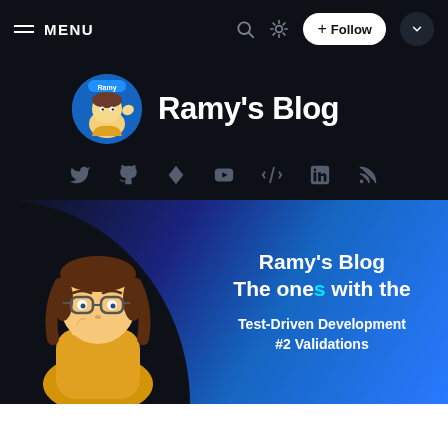≡ MENU
Ramy's Blog
[Figure (illustration): Row of social media icons: Twitter, GitHub, location pin, YouTube, code, LinkedIn, RSS feed — all in grey on dark background]
[Figure (illustration): Blog card with animated character avatar, blue gradient background, showing blog name and article title 'Test-Driven Development #2 Validations']
Ramy's Blog
The ones with the
Test-Driven Development #2 Validations